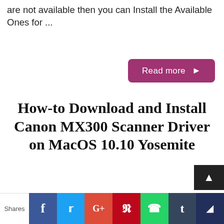are not available then you can Install the Available Ones for ...
Read more ▶
How-to Download and Install Canon MX300 Scanner Driver on MacOS 10.10 Yosemite
May 15, 2017   Uncategorized   Comments: 0
Canon MX300 Scanner QuickStart for Mac OS X 10.10 The Mac Tutorial Shows You Step-by-Step How to Download Install the Scanner MX300 Series...
Shares  f  t  G+  P  WhatsApp  t  ▲